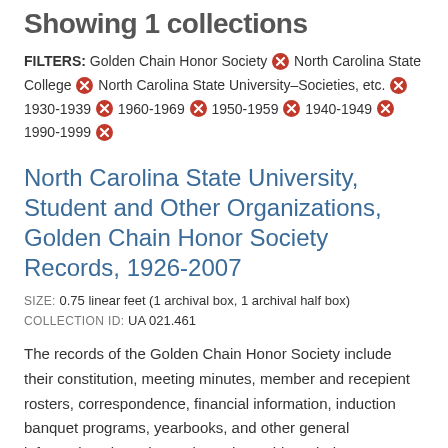Showing 1 collections
FILTERS: Golden Chain Honor Society ✕ North Carolina State College ✕ North Carolina State University–Societies, etc. ✕ 1930-1939 ✕ 1960-1969 ✕ 1950-1959 ✕ 1940-1949 ✕ 1990-1999 ✕
North Carolina State University, Student and Other Organizations, Golden Chain Honor Society Records, 1926-2007
SIZE: 0.75 linear feet (1 archival box, 1 archival half box)
COLLECTION ID: UA 021.461
The records of the Golden Chain Honor Society include their constitution, meeting minutes, member and recepient rosters, correspondence, financial information, induction banquet programs, yearbooks, and other general information about the society. The Golden Chain Honor Society was begun after a